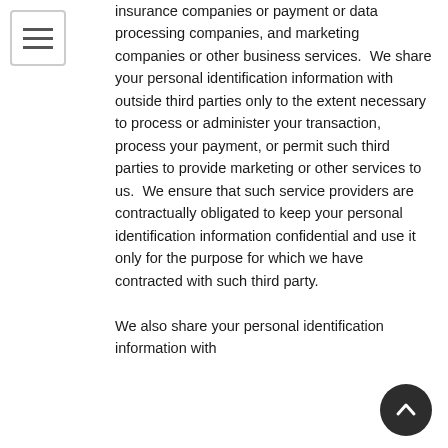[Figure (other): Hamburger menu icon — three horizontal lines inside a bordered square]
insurance companies or payment or data processing companies, and marketing companies or other business services.  We share your personal identification information with outside third parties only to the extent necessary to process or administer your transaction, process your payment, or permit such third parties to provide marketing or other services to us.  We ensure that such service providers are contractually obligated to keep your personal identification information confidential and use it only for the purpose for which we have contracted with such third party.

We also share your personal identification information with
[Figure (other): Dark circular scroll-to-top button with an upward chevron arrow]